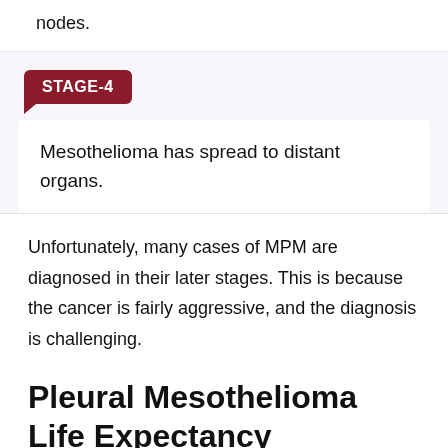nodes.
STAGE-4
Mesothelioma has spread to distant organs.
Unfortunately, many cases of MPM are diagnosed in their later stages. This is because the cancer is fairly aggressive, and the diagnosis is challenging.
Pleural Mesothelioma Life Expectancy